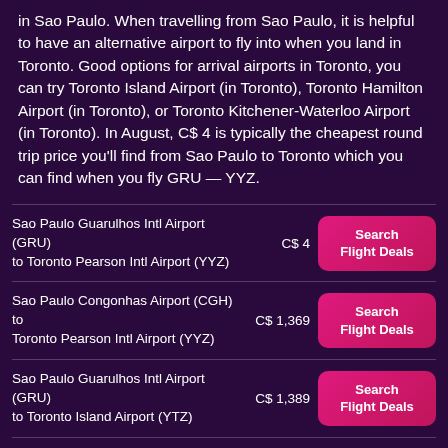in Sao Paulo. When travelling from Sao Paulo, it is helpful to have an alternative airport to fly into when you land in Toronto. Good options for arrival airports in Toronto, you can try Toronto Island Airport (in Toronto), Toronto Hamilton Airport (in Toronto), or Toronto Kitchener-Waterloo Airport (in Toronto). In August, C$ 4 is typically the cheapest round trip price you'll find from Sao Paulo to Toronto which you can find when you fly GRU — YYZ.
| Route | Price | Action |
| --- | --- | --- |
| Sao Paulo Guarulhos Intl Airport (GRU) to Toronto Pearson Intl Airport (YYZ) | C$ 4 | Search Flight Deals |
| Sao Paulo Congonhas Airport (CGH) to Toronto Pearson Intl Airport (YYZ) | C$ 1,369 | Search Flight Deals |
| Sao Paulo Guarulhos Intl Airport (GRU) to Toronto Island Airport (YTZ) | C$ 1,389 | Search Flight Deals |
| Sao Paulo Viracopos Airport (VCP) to Toronto Pearson Intl Airport (YYZ) | C$ 1,104 | Search Flight Deals |
| Sao Paulo Guarulhos Intl Airport (GRU) |  | Search |